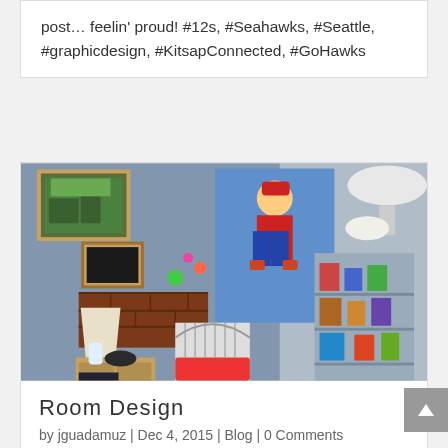post… feelin' proud!  #12s, #Seahawks, #Seattle, #graphicdesign, #KitsapConnected, #GoHawks
[Figure (photo): A Super Mario themed bedroom with Mario poster on blue wall, brick shelf decoration, small animal cage, lamp, collectible toys on shelves]
Room Design
by jguadamuz | Dec 4, 2015 | Blog | 0 Comments
Here's one for #FlashbackFriday. I have 3 boys